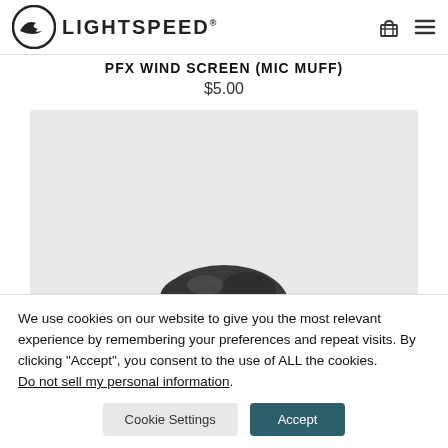LIGHTSPEED
PFX WIND SCREEN (MIC MUFF)
$5.00
[Figure (photo): Partial view of a dark grey mic muff / wind screen product on a light grey background]
We use cookies on our website to give you the most relevant experience by remembering your preferences and repeat visits. By clicking "Accept", you consent to the use of ALL the cookies. Do not sell my personal information.
Cookie Settings
Accept